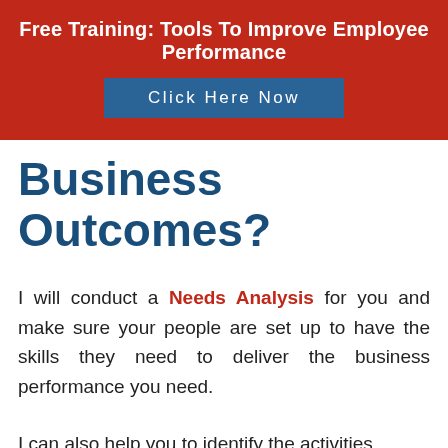Free Training: Tools To Improve Employee Performance
Click Here Now
Business Outcomes?
I will conduct a Needs Analysis for you and make sure your people are set up to have the skills they need to deliver the business performance you need.
I can also help you to identify the activities